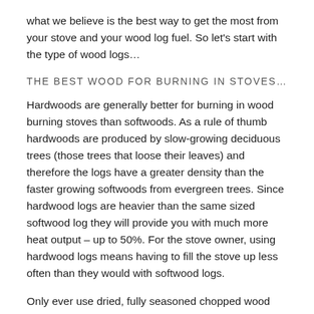what we believe is the best way to get the most from your stove and your wood log fuel. So let's start with the type of wood logs…
THE BEST WOOD FOR BURNING IN STOVES…
Hardwoods are generally better for burning in wood burning stoves than softwoods. As a rule of thumb hardwoods are produced by slow-growing deciduous trees (those trees that loose their leaves) and therefore the logs have a greater density than the faster growing softwoods from evergreen trees. Since hardwood logs are heavier than the same sized softwood log they will provide you with much more heat output – up to 50%. For the stove owner, using hardwood logs means having to fill the stove up less often than they would with softwood logs.
Only ever use dried, fully seasoned chopped wood logs